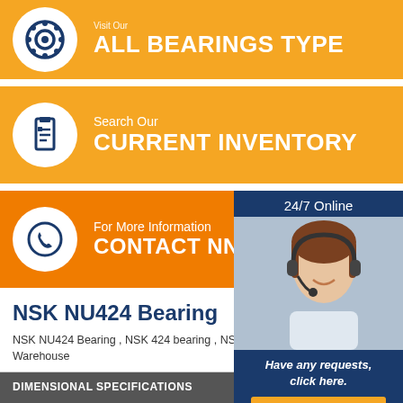ALL BEARINGS TYPE
Search Our CURRENT INVENTORY
For More Information CONTACT NNB BEARING
[Figure (photo): Customer service agent woman with headset, 24/7 Online support panel with Have any requests click here and Quotation button]
NSK NU424 Bearing
NSK NU424 Bearing , NSK 424 bearing , NSK NU424 pricing Warehouse
| DIMENSIONAL SPECIFICATIONS |  |
| --- | --- |
| Bore type | NSK Bearing |
| Cage material | Steel |